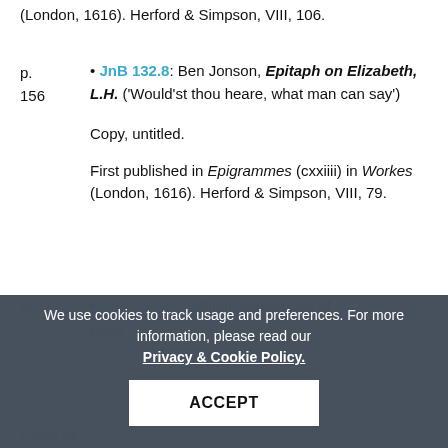(London, 1616). Herford & Simpson, VIII, 106.
p. 156 • JnB 132.8: Ben Jonson, Epitaph on Elizabeth, L.H. ('Would'st thou heare, what man can say')

Copy, untitled.

First published in Epigrammes (cxxiiii) in Workes (London, 1616). Herford & Simpson, VIII, 79.
We use cookies to track usage and preferences. For more information, please read our Privacy & Cookie Policy. [ACCEPT button]